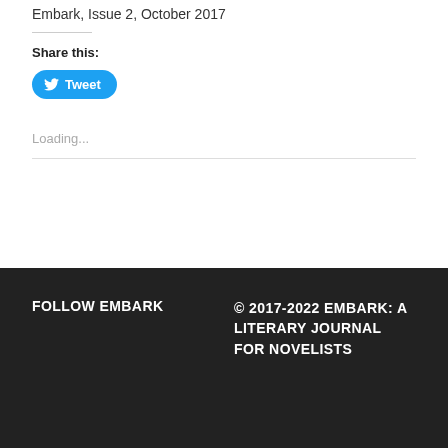Embark, Issue 2, October 2017
Share this:
[Figure (other): Tweet button with Twitter bird icon]
Loading...
FOLLOW EMBARK  © 2017-2022 EMBARK: A LITERARY JOURNAL FOR NOVELISTS